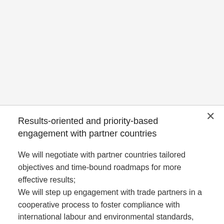Results-oriented and priority-based engagement with partner countries
We will negotiate with partner countries tailored objectives and time-bound roadmaps for more effective results; We will step up engagement with trade partners in a cooperative process to foster compliance with international labour and environmental standards, including through technical and financial assistance. We will work more closely with both Member States and the European Parliament to monitor and implement TSD commitments. We will work to open new markets for import and export of green goods and services and raw materials, which is particularly important to reduce dependencies in the current